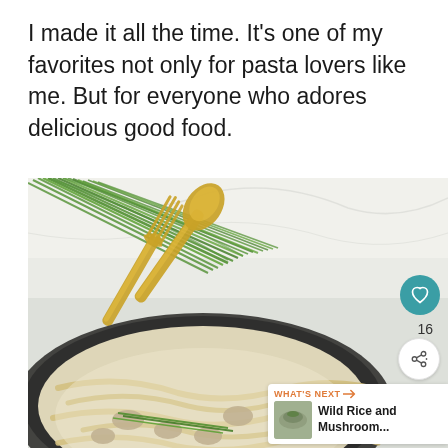I made it all the time. It's one of my favorites not only for pasta lovers like me. But for everyone who adores delicious good food.
[Figure (photo): A dark skillet pan containing creamy fettuccine pasta with mushrooms and fresh chives, with golden serving utensils (fork and spoon) resting on the side, fresh chives scattered above on a white marble surface. A teal heart/like button showing 16 likes, a share button, and a 'What's Next' recommendation card for 'Wild Rice and Mushroom...' are overlaid on the image.]